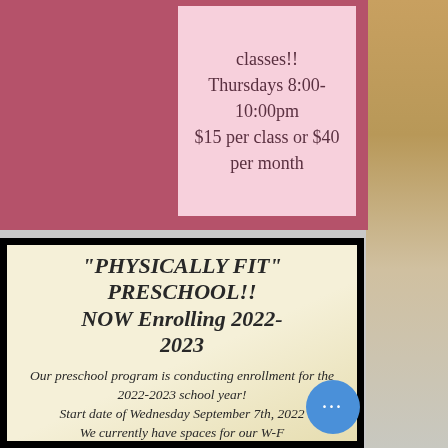classes!!
Thursdays 8:00-10:00pm
$15 per class or $40 per month
"PHYSICALLY FIT" PRESCHOOL!! NOW Enrolling 2022-2023
Our preschool program is conducting enrollment for the 2022-2023 school year!
Start date of Wednesday September 7th, 2022
We currently have spaces for our W-F
Morning classes.